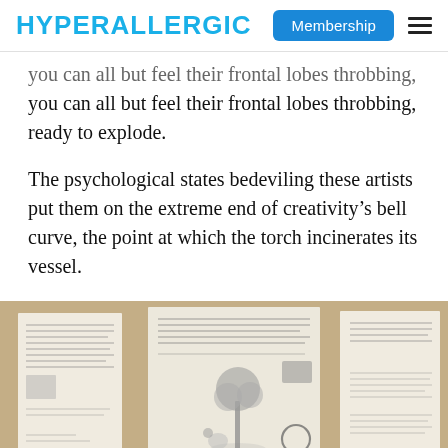HYPERALLERGIC | Membership
you can all but feel their frontal lobes throbbing, ready to explode.
The psychological states bedeviling these artists put them on the extreme end of creativity’s bell curve, the point at which the torch incinerates its vessel.
[Figure (photo): Photo of several document pages laid flat on a surface, showing handwritten and typed text and small illustrations including a figure with a tree and a circular shape drawn in ink.]